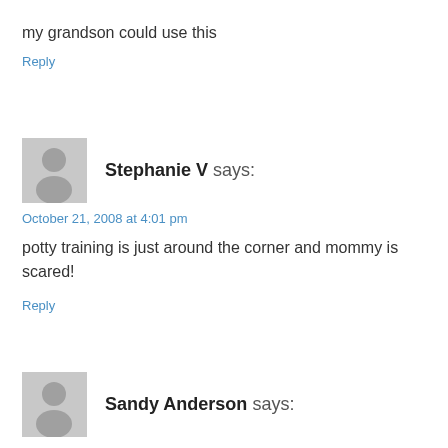my grandson could use this
Reply
Stephanie V says:
October 21, 2008 at 4:01 pm
potty training is just around the corner and mommy is scared!
Reply
Sandy Anderson says:
October 21, 2008 at 3:44 pm